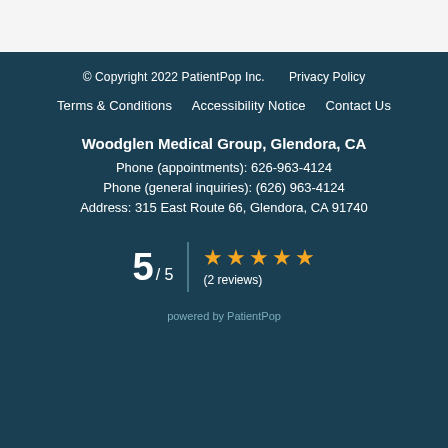© Copyright 2022 PatientPop Inc.     Privacy Policy
Terms & Conditions     Accessibility Notice     Contact Us
Woodglen Medical Group, Glendora, CA
Phone (appointments): 626-963-4124
Phone (general inquiries): (626) 963-4124
Address: 315 East Route 66, Glendora, CA 91740
5 / 5  ★★★★★  (2 reviews)
powered by PatientPop